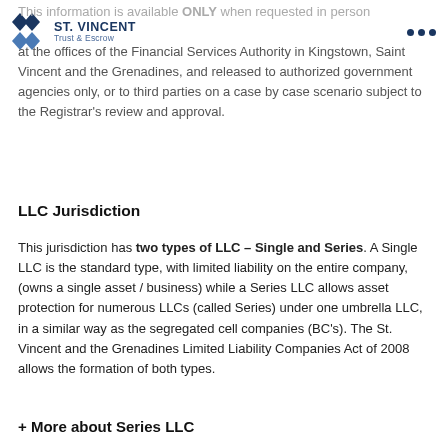ST. VINCENT Trust & Escrow
This information is available ONLY when requested in person at the offices of the Financial Services Authority in Kingstown, Saint Vincent and the Grenadines, and released to authorized government agencies only, or to third parties on a case by case scenario subject to the Registrar's review and approval.
LLC Jurisdiction
This jurisdiction has two types of LLC – Single and Series. A Single LLC is the standard type, with limited liability on the entire company, (owns a single asset / business) while a Series LLC allows asset protection for numerous LLCs (called Series) under one umbrella LLC, in a similar way as the segregated cell companies (BC's). The St. Vincent and the Grenadines Limited Liability Companies Act of 2008 allows the formation of both types.
+ More about Series LLC